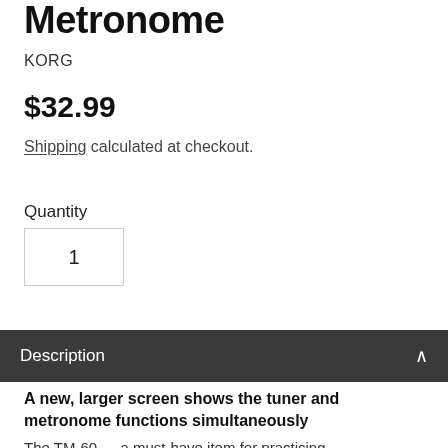Metronome
KORG
$32.99
Shipping calculated at checkout.
Quantity
1
Description
A new, larger screen shows the tuner and metronome functions simultaneously
The TM-60 — a must-have item for practicing.